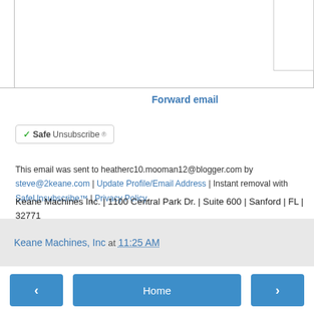Forward email
[Figure (other): SafeUnsubscribe button with checkmark logo]
This email was sent to heatherc10.mooman12@blogger.com by steve@2keane.com | Update Profile/Email Address | Instant removal with SafeUnsubscribe™ | Privacy Policy.
Keane Machines Inc. | 1100 Central Park Dr. | Suite 600 | Sanford | FL | 32771
Keane Machines, Inc at 11:25 AM
< Home >